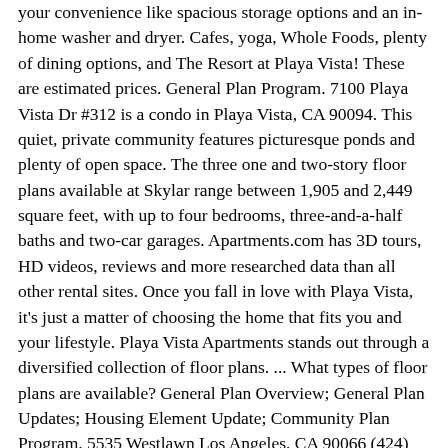your convenience like spacious storage options and an in-home washer and dryer. Cafes, yoga, Whole Foods, plenty of dining options, and The Resort at Playa Vista! These are estimated prices. General Plan Program. 7100 Playa Vista Dr #312 is a condo in Playa Vista, CA 90094. This quiet, private community features picturesque ponds and plenty of open space. The three one and two-story floor plans available at Skylar range between 1,905 and 2,449 square feet, with up to four bedrooms, three-and-a-half baths and two-car garages. Apartments.com has 3D tours, HD videos, reviews and more researched data than all other rental sites. Once you fall in love with Playa Vista, it's just a matter of choosing the home that fits you and your lifestyle. Playa Vista Apartments stands out through a diversified collection of floor plans. ... What types of floor plans are available? General Plan Overview; General Plan Updates; Housing Element Update; Community Plan Program. 5535 Westlawn Los Angeles, CA 90066 (424) 404-6386. View floor plan, options and pricing. Serenade is located near Concert Park and Bark Park. Cleo at Playa Vista is a new condo and townhouse development by Brookfield Residential California in Los Angeles, CA. Application Info. Many front facing units have peaceful park views, and it's conveniently located walking d… The two-bedroom layouts come feature 6 versions and vary between 1,082 and 1,290 square feet. You searched for 3 bedroom rentals in Playa Vista, CA. Everly in Playa Vista is where coastal cool living takes the lead. SOLD OUT . Monday 09:30 am-06:30 pm ... Furniture shown on the floor plan drawings is representative and individual apartments